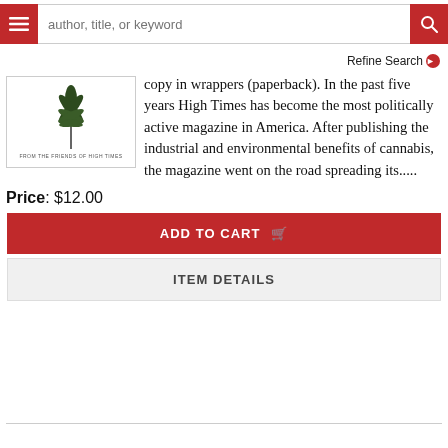[Figure (screenshot): Website navigation bar with hamburger menu button (red), search input field with placeholder 'author, title, or keyword', and red search button with magnifying glass icon]
Refine Search ▶
[Figure (photo): Book cover thumbnail showing a cannabis/marijuana plant illustration with text 'FROM THE FRIENDS OF HIGH TIMES']
copy in wrappers (paperback). In the past five years High Times has become the most politically active magazine in America. After publishing the industrial and environmental benefits of cannabis, the magazine went on the road spreading its.....
Price: $12.00
ADD TO CART
ITEM DETAILS